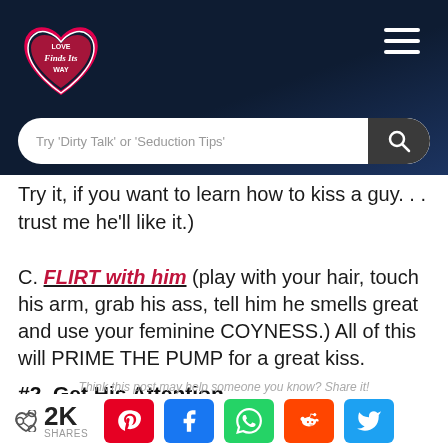Love Finds Its Way — navigation header with logo and hamburger menu
Try 'Dirty Talk' or 'Seduction Tips'
Try it, if you want to learn how to kiss a guy. . . trust me he'll like it.)
C. FLIRT with him (play with your hair, touch his arm, grab his ass, tell him he smells great and use your feminine COYNESS.) All of this will PRIME THE PUMP for a great kiss.
#2. Get His Attention.
Think this post may help someone you know? Share it!
< 2K SHARES